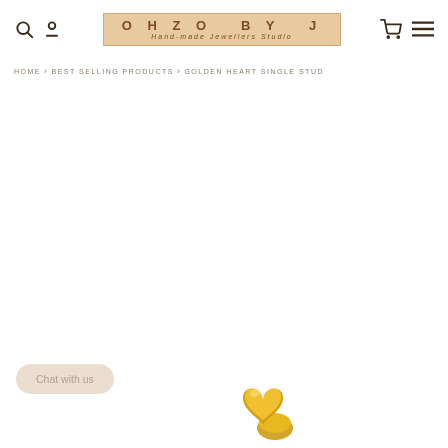[Figure (logo): OHZO BY J handmade jewellers studio logo in a peach/tan bordered box]
HOME > BEST SELLING PRODUCTS > GOLDEN HEART SINGLE STUD
Chat with us
[Figure (photo): Golden heart single stud earring, gold colored, photographed close-up at bottom of page]